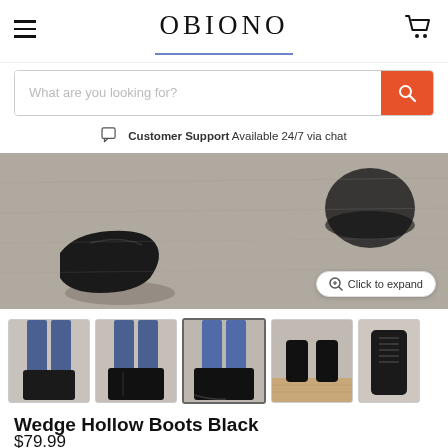OBIONO
What are you looking for?
Customer Support Available 24/7 via chat
[Figure (photo): Close-up photo of black wedge ankle boots on a concrete surface, top-down view showing two boots]
[Figure (photo): Thumbnail 1: Side view of black ankle boots worn with jeans]
[Figure (photo): Thumbnail 2: Black ankle boots with zip, worn with jeans]
[Figure (photo): Thumbnail 3 (active/selected): Black wedge boots side view, worn with jeans]
[Figure (photo): Thumbnail 4: Front view of black boots on wooden surface]
[Figure (photo): Thumbnail 5: Single black high-top boot, studio shot]
Wedge Hollow Boots Black
$79.99